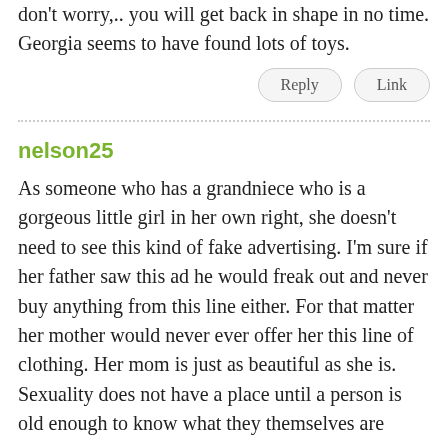don't worry,.. you will get back in shape in no time. Georgia seems to have found lots of toys.
Reply   Link
nelson25
As someone who has a grandniece who is a gorgeous little girl in her own right, she doesn't need to see this kind of fake advertising. I'm sure if her father saw this ad he would freak out and never buy anything from this line either. For that matter her mother would never ever offer her this line of clothing. Her mom is just as beautiful as she is. Sexuality does not have a place until a person is old enough to know what they themselves are